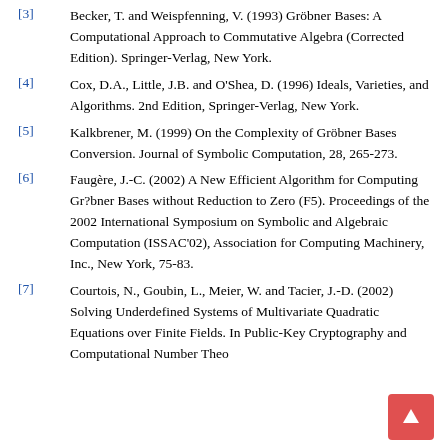[3] Becker, T. and Weispfenning, V. (1993) Gröbner Bases: A Computational Approach to Commutative Algebra (Corrected Edition). Springer-Verlag, New York.
[4] Cox, D.A., Little, J.B. and O'Shea, D. (1996) Ideals, Varieties, and Algorithms. 2nd Edition, Springer-Verlag, New York.
[5] Kalkbrener, M. (1999) On the Complexity of Gröbner Bases Conversion. Journal of Symbolic Computation, 28, 265-273.
[6] Faugère, J.-C. (2002) A New Efficient Algorithm for Computing Gr?bner Bases without Reduction to Zero (F5). Proceedings of the 2002 International Symposium on Symbolic and Algebraic Computation (ISSAC'02), Association for Computing Machinery, Inc., New York, 75-83.
[7] Courtois, N., Goubin, L., Meier, W. and Tacier, J.-D. (2002) Solving Underdefined Systems of Multivariate Quadratic Equations over Finite Fields. In Public-Key Cryptography and Computational Number Theory...